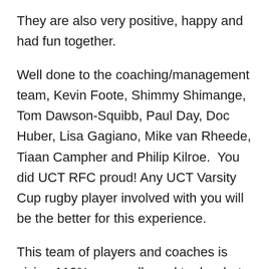They are also very positive, happy and had fun together.
Well done to the coaching/management team, Kevin Foote, Shimmy Shimange, Tom Dawson-Squibb, Paul Day, Doc Huber, Lisa Gagiano, Mike van Rheede, Tiaan Campher and Philip Kilroe.  You did UCT RFC proud! Any UCT Varsity Cup rugby player involved with you will be the better for this experience.
This team of players and coaches is giving 110% so we all need to do what we can to help them get the score board results that they deserve and are so close to achieving.